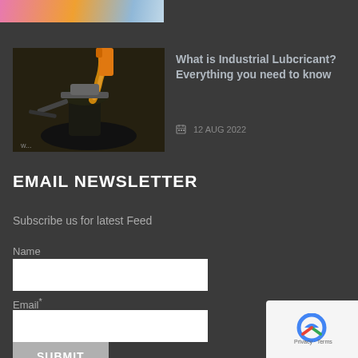[Figure (photo): Partial view of a colorful image (pink, orange, blue tones) at the top of the page — cropped article thumbnail]
[Figure (photo): Photo of motor oil being poured into an engine — orange/gold oil stream, industrial setting]
What is Industrial Lubcricant? Everything you need to know
12 AUG 2022
EMAIL NEWSLETTER
Subscribe us for latest Feed
Name
Email*
SUBMIT
[Figure (logo): reCAPTCHA badge with Privacy and Terms links]